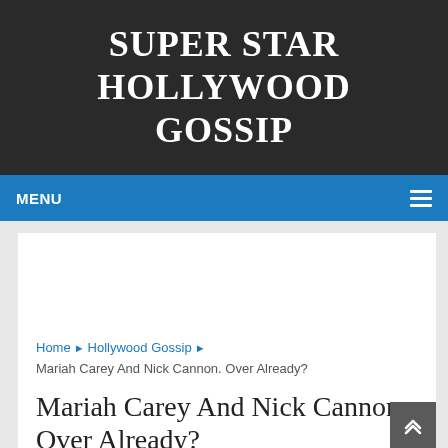SUPER STAR HOLLYWOOD GOSSIP
MENU
[Figure (other): Empty advertisement placeholder area]
Home ▶ Hollywood Gossip ▶ Mariah Carey And Nick Cannon. Over Already?
Mariah Carey And Nick Cannon. Over Already?